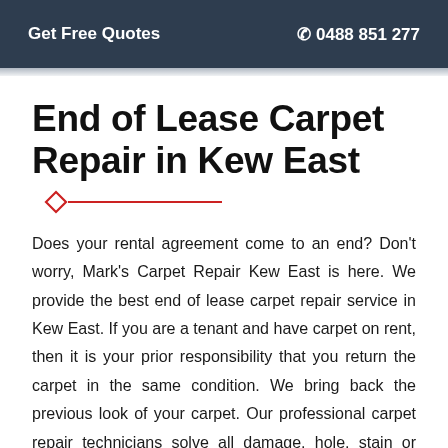Get Free Quotes   ☎ 0488 851 277
End of Lease Carpet Repair in Kew East
Does your rental agreement come to an end? Don't worry, Mark's Carpet Repair Kew East is here. We provide the best end of lease carpet repair service in Kew East. If you are a tenant and have carpet on rent, then it is your prior responsibility that you return the carpet in the same condition. We bring back the previous look of your carpet. Our professional carpet repair technicians solve all damage, hole, stain or other problem. We provide same-day end of lease service in Kew East. Hire us